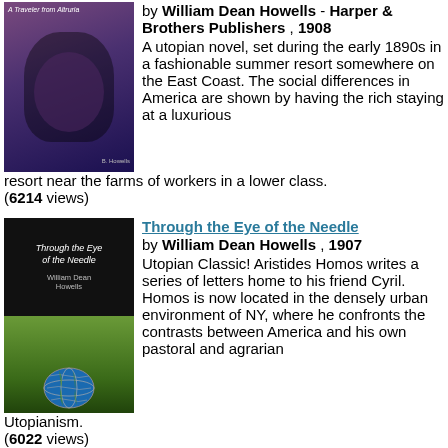[Figure (illustration): Book cover for 'A Traveler from Altruria' showing a person playing violin against a purple/dark background]
by William Dean Howells - Harper & Brothers Publishers , 1908
A utopian novel, set during the early 1890s in a fashionable summer resort somewhere on the East Coast. The social differences in America are shown by having the rich staying at a luxurious resort near the farms of workers in a lower class.
(6214 views)
[Figure (illustration): Book cover for 'Through the Eye of the Needle' showing text on dark background above a green grassy landscape with a globe]
Through the Eye of the Needle
by William Dean Howells , 1907
Utopian Classic! Aristides Homos writes a series of letters home to his friend Cyril. Homos is now located in the densely urban environment of NY, where he confronts the contrasts between America and his own pastoral and agrarian Utopianism.
(6022 views)
[Figure (illustration): Book cover for 'The Tower of Oblivion' with dark background]
The Tower of Oblivion
by Oliver Onions - The Macmillan Company , 1921